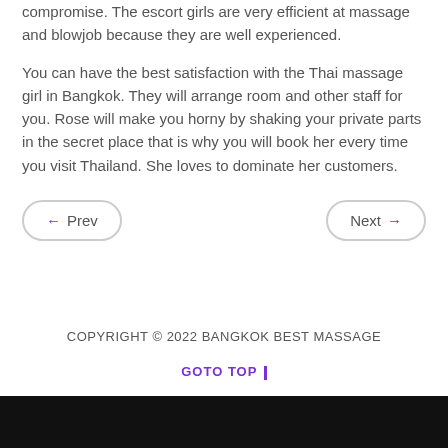compromise. The escort girls are very efficient at massage and blowjob because they are well experienced.
You can have the best satisfaction with the Thai massage girl in Bangkok. They will arrange room and other staff for you. Rose will make you horny by shaking your private parts in the secret place that is why you will book her every time you visit Thailand. She loves to dominate her customers.
← Prev
Next →
COPYRIGHT © 2022 BANGKOK BEST MASSAGE
GOTO TOP |